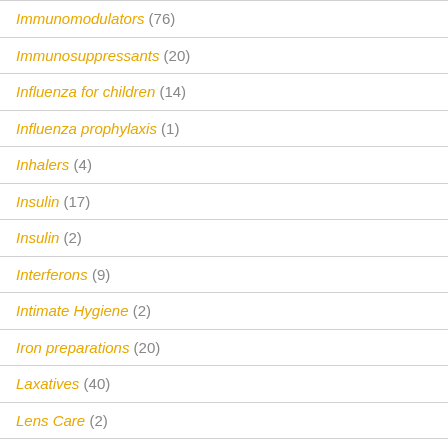Immunomodulators (76)
Immunosuppressants (20)
Influenza for children (14)
Influenza prophylaxis (1)
Inhalers (4)
Insulin (17)
Insulin (2)
Interferons (9)
Intimate Hygiene (2)
Iron preparations (20)
Laxatives (40)
Lens Care (2)